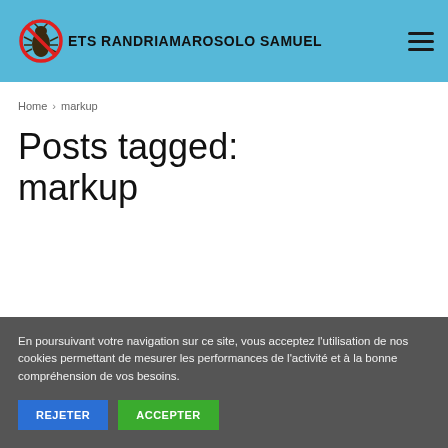ETS RANDRIAMAROSOLO Samuel
Home > markup
Posts tagged: markup
En poursuivant votre navigation sur ce site, vous acceptez l'utilisation de nos cookies permettant de mesurer les performances de l'activité et à la bonne compréhension de vos besoins.
REJETER | ACCEPTER